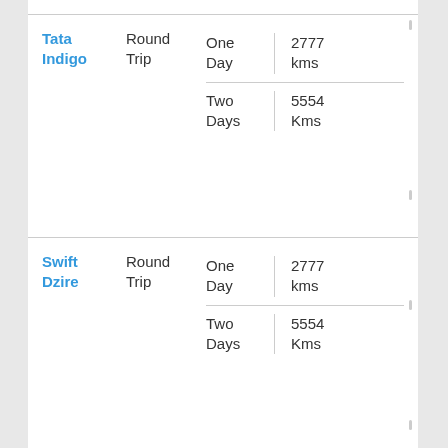| Car | Trip Type | Duration | Distance |
| --- | --- | --- | --- |
| Tata Indigo | Round Trip | One Day | 2777 kms |
| Tata Indigo | Round Trip | Two Days | 5554 Kms |
| Swift Dzire | Round Trip | One Day | 2777 kms |
| Swift Dzire | Round Trip | Two Days | 5554 Kms |